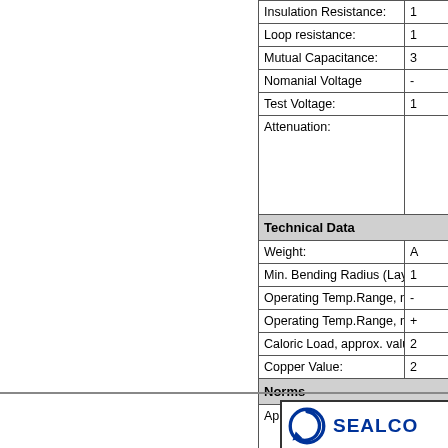| Property | Value |
| --- | --- |
| Insulation Resistance: | 1... |
| Loop resistance: | 1... |
| Mutual Capacitance: | 3... |
| Nomanial Voltage | -... |
| Test Voltage: | 1... |
| Attenuation: |  |
| Technical Data |  |
| Weight: | A... |
| Min. Bending Radius (Laying): | 1... |
| Operating Temp.Range, min.: | -... |
| Operating Temp.Range, max.: | +... |
| Caloric Load, approx. value: | 2... |
| Copper Value: | 2... |
| Norms |  |
| Applicable Standards: | p... a... |
[Figure (logo): Sealcon logo with circular arrow icon and company name, with subtitle 'Types and Sizes of Rel...']